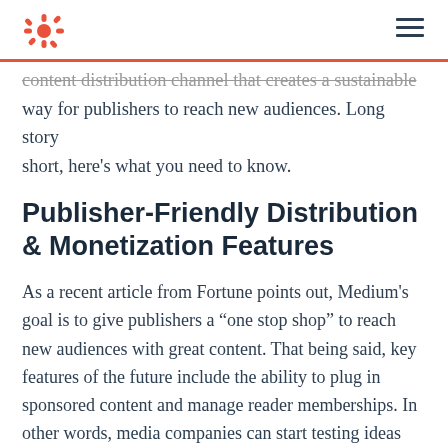HubSpot logo and navigation menu
content distribution channel that creates a sustainable way for publishers to reach new audiences. Long story short, here's what you need to know.
Publisher-Friendly Distribution & Monetization Features
As a recent article from Fortune points out, Medium's goal is to give publishers a “one stop shop” to reach new audiences with great content. That being said, key features of the future include the ability to plug in sponsored content and manage reader memberships. In other words, media companies can start testing ideas for monetization without needing to build an entire sponsored content offering from scratch.